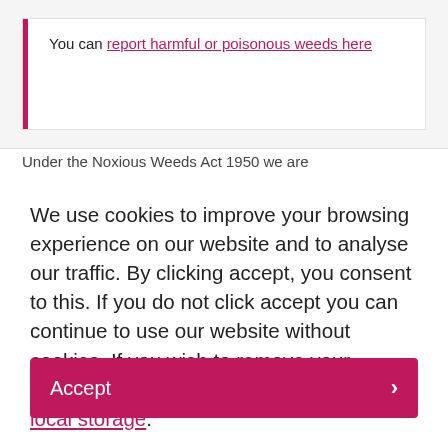You can report harmful or poisonous weeds here
Under the Noxious Weeds Act 1950 we are...
We use cookies to improve your browsing experience on our website and to analyse our traffic. By clicking accept, you consent to this. If you do not click accept you can continue to use our website without cookies. If you wish to remove your consent at any time, please clear your local storage.
Accept